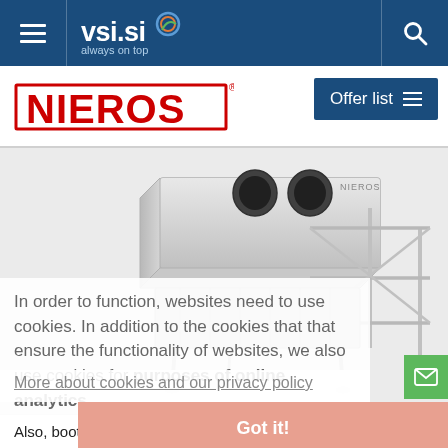vsi.si always on top
[Figure (logo): NIEROS brand logo in red capital letters with registered trademark symbol]
Offer list
[Figure (photo): Stainless steel industrial boot wash station equipment with NIEROS branding, showing a rectangular unit with two circular openings on top and metal railings/frame structure]
In order to function, websites need to use cookies. In addition to the cookies that that ensure the functionality of websites, we also use cookies for purposes of online analytics.
More about cookies and our privacy policy
Got it!
Also, boot wash stations are available in multiple cleaning